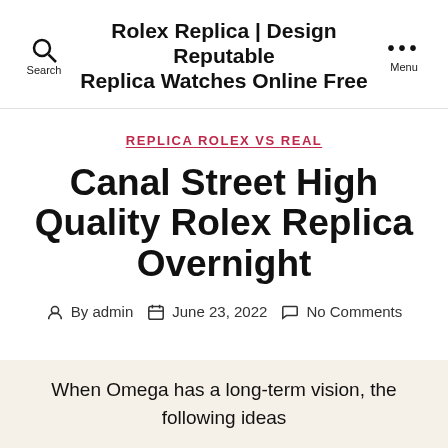Rolex Replica | Design Reputable Replica Watches Online Free
REPLICA ROLEX VS REAL
Canal Street High Quality Rolex Replica Overnight
By admin   June 23, 2022   No Comments
When Omega has a long-term vision, the following ideas